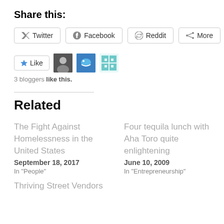Share this:
[Figure (infographic): Social share buttons: Twitter, Facebook, Reddit, More]
[Figure (infographic): Like button with 3 blogger avatars and text '3 bloggers like this.']
Related
The Fight Against Homelessness in the United States
September 18, 2017
In "People"
Four tequila lunch with Aha Toro quite enlightening
June 10, 2009
In "Entrepreneurship"
Thriving Street Vendors